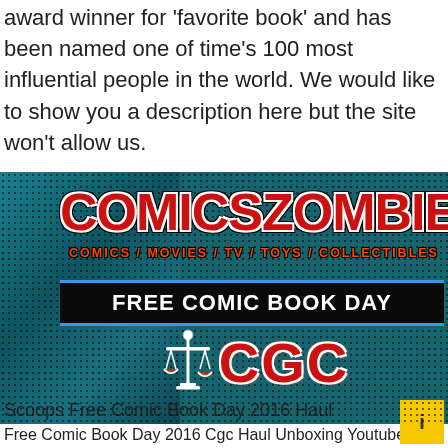award winner for 'favorite book' and has been named one of time's 100 most influential people in the world. We would like to show you a description here but the site won't allow us.
[Figure (illustration): ComicsZombie banner image with dark teal dotted/halftone background. Large red bold text 'COMICSZOMBIE' at top. Below: 'COMICS / MOVIES / TV / TOYS / COLLECTIBLES' in orange-red. A black bar with blue border lines reading 'FREE COMIC BOOK DAY' in white. Below: CGC logo with scales of justice icon and red 'CGC' lettering.]
Free Comic Book Day 2016 Cgc Haul Unboxing Youtube
Scoops Free Comic Book Day 2016 Haul